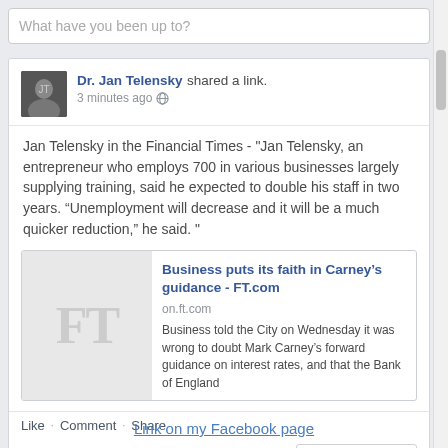What have you been up to?
Dr. Jan Telensky shared a link. 3 minutes ago
Jan Telensky in the Financial Times - "Jan Telensky, an entrepreneur who employs 700 in various businesses largely supplying training, said he expected to double his staff in two years. “Unemployment will decrease and it will be a much quicker reduction,” he said. "
[Figure (screenshot): Link preview for FT.com article titled 'Business puts its faith in Carney’s guidance - FT.com' with FT logo thumbnail and description text]
Like · Comment · Share
Boost Post
Link on my Facebook page